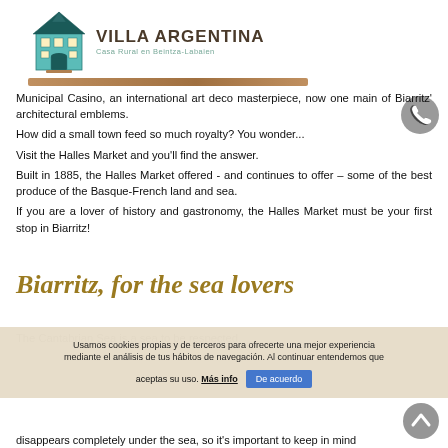[Figure (logo): Villa Argentina logo with teal building illustration, bold text VILLA ARGENTINA, subtitle Casa Rural en Beintza-Labaien, and a brown decorative underline bar]
Municipal Casino, an international art deco masterpiece, now one main of Biarritz' architectural emblems.
How did a small town feed so much royalty? You wonder...
Visit the Halles Market and you'll find the answer.
Built in 1885, the Halles Market offered - and continues to offer – some of the best produce of the Basque-French land and sea.
If you are a lover of history and gastronomy, the Halles Market must be your first stop in Biarritz!
Biarritz, for the sea lovers
The Cantabrian Sea is a sea to be respected.
Usamos cookies propias y de terceros para ofrecerte una mejor experiencia mediante el análisis de tus hábitos de navegación. Al continuar entendemos que aceptas su uso. Más info
disappears completely under the sea, so it's important to keep in mind